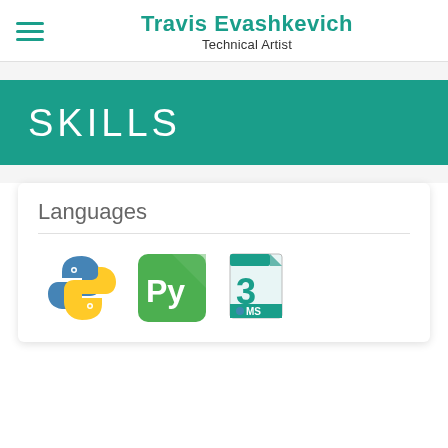Travis Evashkevich
Technical Artist
SKILLS
Languages
[Figure (illustration): Three programming language logos: Python (blue/yellow snake logo), PyCharm (green Py logo), and 3ds Max Script (teal file icon with number 3 and MS label with Python snake)]